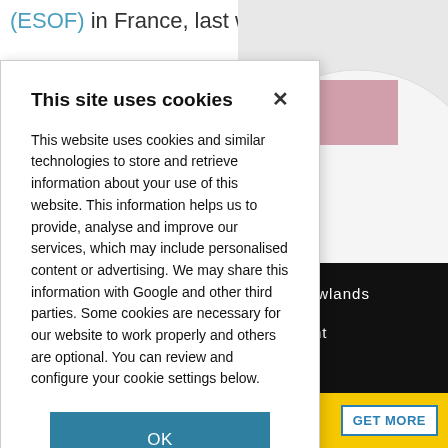(ESOF) in France, last week.
[Figure (photo): Background image showing microscopy/laboratory sample with pink square and spatter pattern on right side of page]
This site uses cookies
This website uses cookies and similar technologies to store and retrieve information about your use of this website. This information helps us to provide, analyse and improve our services, which may include personalised content or advertising. We may share this information with Google and other third parties. Some cookies are necessary for our website to work properly and others are optional. You can review and configure your cookie settings below.
OK
COOKIE SETTINGS
Craig Rowlands
h different
GET MORE